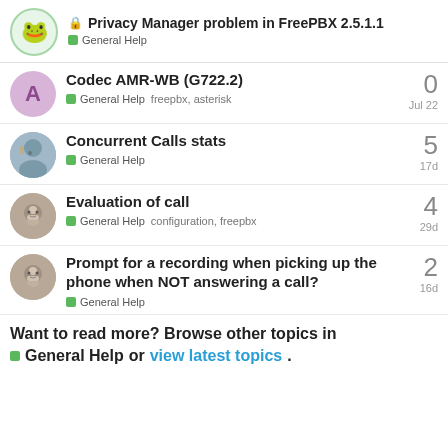Privacy Manager problem in FreePBX 2.5.1.1 — General Help
Codec AMR-WB (G722.2) — General Help — freepbx, asterisk — 0 replies — Jul 22
Concurrent Calls stats — General Help — 5 replies — 17d
Evaluation of call — General Help — configuration, freepbx — 4 replies — 29d
Prompt for a recording when picking up the phone when NOT answering a call? — General Help — 2 replies — 16d
Want to read more? Browse other topics in General Help or view latest topics.